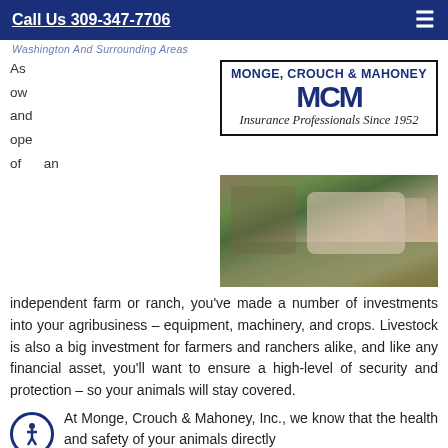Call Us 309-347-7706
Washington And Surrounding Areas
[Figure (logo): Monge, Crouch & Mahoney Insurance Professionals Since 1952 logo with large blue block letters]
[Figure (photo): Person in plaid shirt working on fence post with cattle in background]
independent farm or ranch, you’ve made a number of investments into your agribusiness – equipment, machinery, and crops. Livestock is also a big investment for farmers and ranchers alike, and like any financial asset, you’ll want to ensure a high-level of security and protection – so your animals will stay covered.
At Monge, Crouch & Mahoney, Inc., we know that the health and safety of your animals directly affects the health and profitability of your farm.